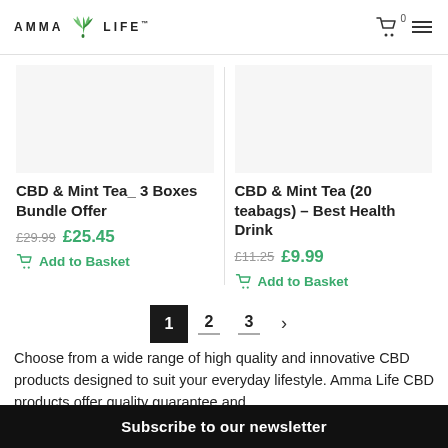[Figure (logo): Amma Life logo with leaf/plant icon and wordmark]
CBD & Mint Tea_ 3 Boxes Bundle Offer £29.99 £25.45 Add to Basket
CBD & Mint Tea (20 teabags) – Best Health Drink £11.25 £9.99 Add to Basket
1 2 3 >
Choose from a wide range of high quality and innovative CBD products designed to suit your everyday lifestyle. Amma Life CBD products offer quality guarantee and
Subscribe to our newsletter